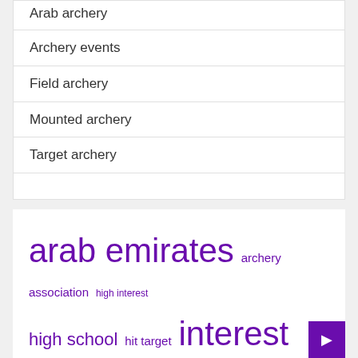Arab archery
Archery events
Field archery
Mounted archery
Target archery
arab emirates archery association high interest high school hit target interest rates payday lenders payday loans repay loan short term sports association united arab